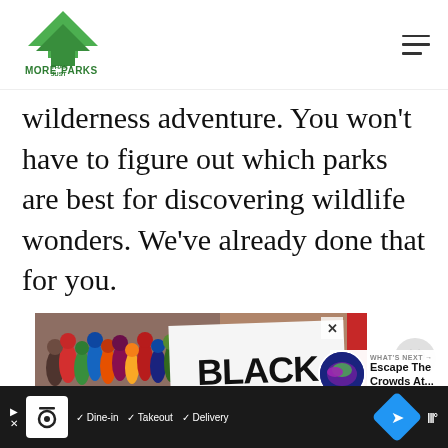[Figure (logo): More Than Just Parks logo with green arrowhead/tree icon and green text]
wilderness adventure. You won't have to figure out which parks are best for discovering wildlife wonders. We've already done that for you.
[Figure (photo): Advertisement showing colorful illustrated crowd of people with text BLACK visible]
[Figure (photo): What's Next panel with thumbnail showing northern lights: Escape The Crowds At...]
[Figure (screenshot): Bottom ad bar with restaurant app showing Dine-in, Takeout, Delivery options on dark background]